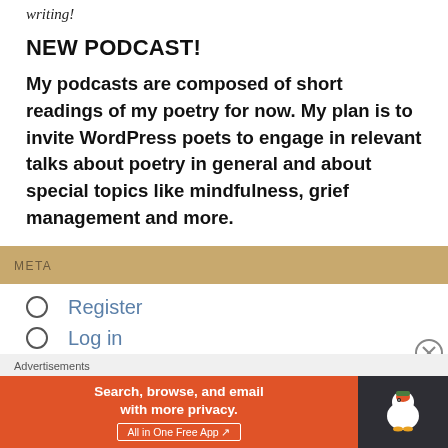writing!
NEW PODCAST!
My podcasts are composed of short readings of my poetry for now. My plan is to invite WordPress poets to engage in relevant talks about poetry in general and about special topics like mindfulness, grief management and more.
META
Register
Log in
Entries feed
Comments feed
[Figure (screenshot): DuckDuckGo advertisement banner: orange background on left with text 'Search, browse, and email with more privacy. All in One Free App', dark right panel with DuckDuckGo logo duck icon.]